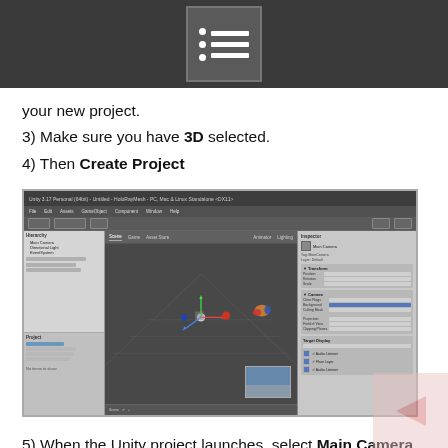your new project.
3) Make sure you have 3D selected.
4) Then Create Project
[Figure (screenshot): Unity 3D editor with Main Camera selected in the Hierarchy section, showing the Scene view with colored axis arrows in the center, and the Inspector panel on the right side with camera settings.]
5) When the Unity project launches, select Main Camera in the Hierarchy section (far left).
6) Note that the Inspector section (far right) will show the details of our camera.
7) As the HoloLens is the center of our